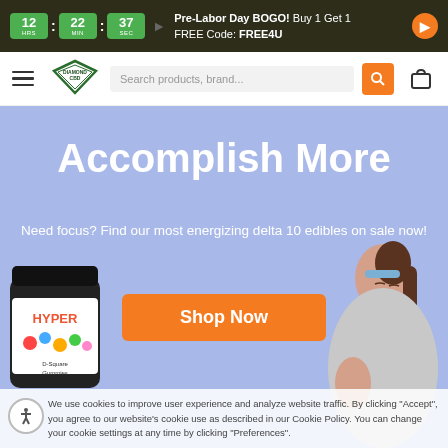Pre-Labor Day BOGO! Buy 1 Get 1 FREE Code: FREE4U — Timer: 12 HRS : 22 MIN : 37 SEC
[Figure (screenshot): Diamond CBD logo — diamond shape with green outline]
Search products, brand...
Accomplish More
Need focus? Find our most energizing delta 10 edibles on sale now!
Shop Now
[Figure (photo): Woman with eyes closed, ponytail, peaceful expression, holding hand up, blue headband]
[Figure (photo): Hyper brand gummy product jar with colorful candies label]
We use cookies to improve user experience and analyze website traffic. By clicking "Accept", you agree to our website's cookie use as described in our Cookie Policy. You can change your cookie settings at any time by clicking "Preferences".